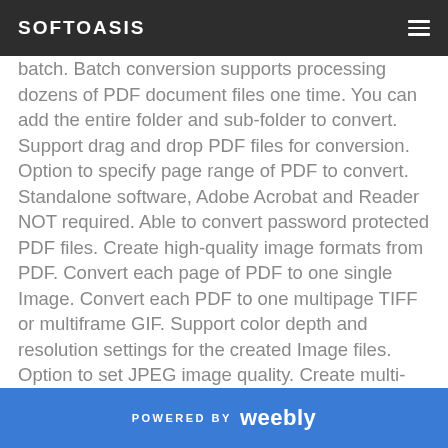SOFTOASIS
batch. Batch conversion supports processing dozens of PDF document files one time. You can add the entire folder and sub-folder to convert. Support drag and drop PDF files for conversion. Option to specify page range of PDF to convert. Standalone software, Adobe Acrobat and Reader NOT required. Able to convert password protected PDF files. Create high-quality image formats from PDF. Convert each page of PDF to one single Image. Convert each PDF to one multipage TIFF or multiframe GIF. Support color depth and resolution settings for the created Image files. Option to set JPEG image quality. Create multi-page Word, RTF from PDF. Create multi-frame SWF video from PDF. Custom resolution and frame rate for created SWF video. Adjust image width and height to adjust the SWF frame size automatically. Preserve the original PDF bookmarks and
POWERED BY weebly